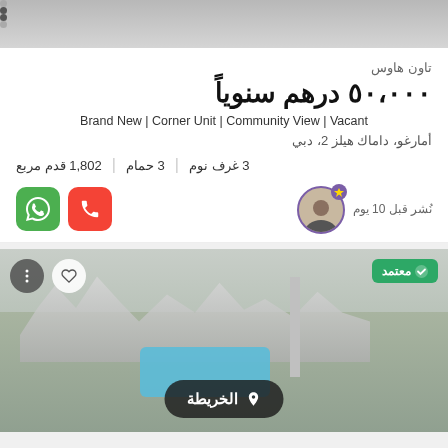[Figure (photo): Top image strip with navigation dots]
تاون هاوس
٥٠,٠٠٠ درهم سنوياً
Brand New | Corner Unit | Community View | Vacant
أمارغو، داماك هيلز 2، دبي
3 غرف نوم | 3 حمام | 1,802 قدم مربع
نُشر قبل 10 يوم
[Figure (photo): Aerial/elevated photo of a residential community with pool, townhouses, and landscaping. Has verified badge, options button, favourite button, and map button overlay.]